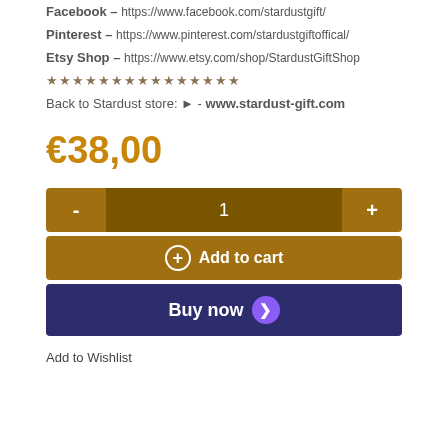Facebook – https://www.facebook.com/stardustgift/
Pinterest – https://www.pinterest.com/stardustgiftoffical/
Etsy Shop – https://www.etsy.com/shop/StardustGiftShop
★★★★★★★★★★★★★★★
Back to Stardust store: ► - www.stardust-gift.com
€38,00
- 1 +
⊕ Add to cart
Buy now ❯
Add to Wishlist